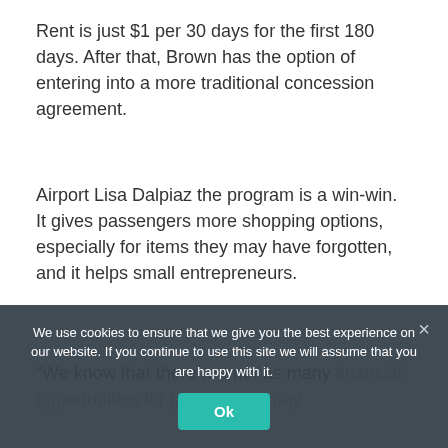Rent is just $1 per 30 days for the first 180 days. After that, Brown has the option of entering into a more traditional concession agreement.
Airport Lisa Dalpiaz the program is a win-win. It gives passengers more shopping options, especially for items they may have forgotten, and it helps small entrepreneurs.
“We know that there are not as many financial opportunities for people who may own…” —Dalpiaz
Brown said launching a business has been
We use cookies to ensure that we give you the best experience on our website. If you continue to use this site we will assume that you are happy with it.